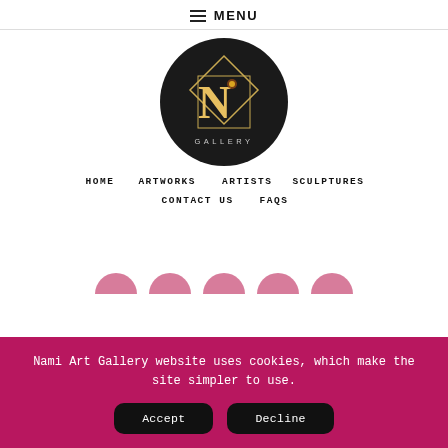MENU
[Figure (logo): Nami Art Gallery circular black logo with stylized N and 'GALLERY' text]
HOME   ARTWORKS   ARTISTS   SCULPTURES   CONTACT US   FAQS
Nami Art Gallery website uses cookies, which make the site simpler to use.
Accept   Decline